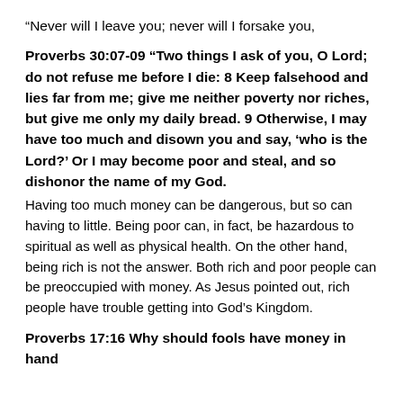“Never will I leave you; never will I forsake you,
Proverbs 30:07-09 “Two things I ask of you, O Lord; do not refuse me before I die: 8 Keep falsehood and lies far from me; give me neither poverty nor riches, but give me only my daily bread. 9 Otherwise, I may have too much and disown you and say, ‘who is the Lord?’ Or I may become poor and steal, and so dishonor the name of my God.
Having too much money can be dangerous, but so can having to little. Being poor can, in fact, be hazardous to spiritual as well as physical health. On the other hand, being rich is not the answer. Both rich and poor people can be preoccupied with money. As Jesus pointed out, rich people have trouble getting into God’s Kingdom.
Proverbs 17:16 Why should fools have money in hand